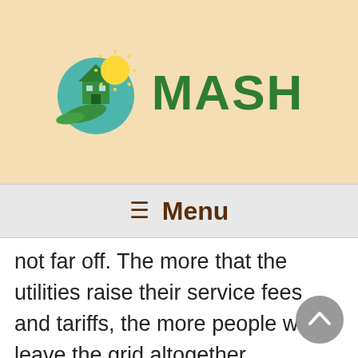[Figure (logo): MASH logo: green house with solar panels and a yellow sun, green curved leaf/bird shape beneath, with the text MASH in bold green letters]
≡  Menu
not far off. The more that the utilities raise their service fees and tariffs, the more people will leave the grid altogether. Eventually, perhaps within 4-5 years, the utilities will